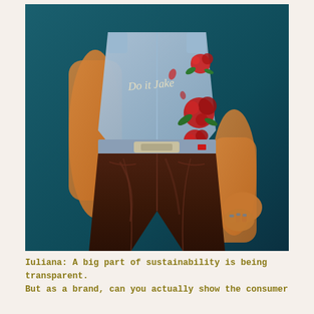[Figure (photo): A person photographed from behind wearing a light denim sleeveless vest with red rose embroidery and the text 'Do it Jake' written in cursive on the back, paired with dark brown leather pants. The background is a deep teal/blue color.]
Iuliana: A big part of sustainability is being transparent. But as a brand, can you actually show the consumer